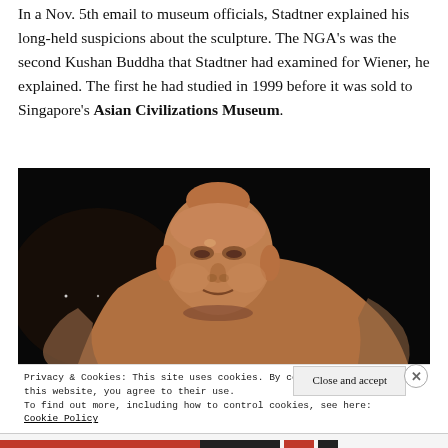In a Nov. 5th email to museum officials, Stadtner explained his long-held suspicions about the sculpture. The NGA's was the second Kushan Buddha that Stadtner had examined for Wiener, he explained. The first he had studied in 1999 before it was sold to Singapore's Asian Civilizations Museum.
[Figure (photo): A close-up photograph of a sandstone or terracotta Buddha head sculpture against a dark/black background. The sculpture shows a serene face with closed or downcast eyes, a slight smile, and a flat ushnisha (head protuberance). The sculpture appears to be partially damaged or fragmented.]
Privacy & Cookies: This site uses cookies. By continuing to use this website, you agree to their use.
To find out more, including how to control cookies, see here: Cookie Policy
Close and accept